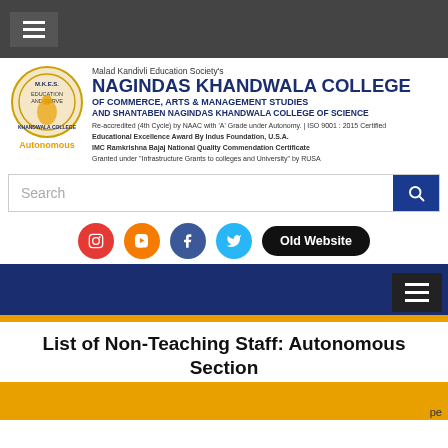Nagindas Khandwala College - Header navigation bar
[Figure (logo): College circular logo with figure and text MKES]
Malad Kandivli Education Society's NAGINDAS KHANDWALA COLLEGE OF COMMERCE, ARTS & MANAGEMENT STUDIES AND SHANTABEN NAGINDAS KHANDWALA COLLEGE OF SCIENCE
Re-accredited (4th Cycle) by NAAC with 'A' Grade under Autonomy. | ISO 9001 : 2015 Certified Educational Excellence Award By Indus Foundation, U.S.A. IMC Ramkrishna Bajaj National Quality Commendation Certificate Granted under "Infrastructure Grants to colleges and University" by RUSA
List of Non-Teaching Staff: Autonomous Section
| Sr. No. | Name | Designation |
| --- | --- | --- |